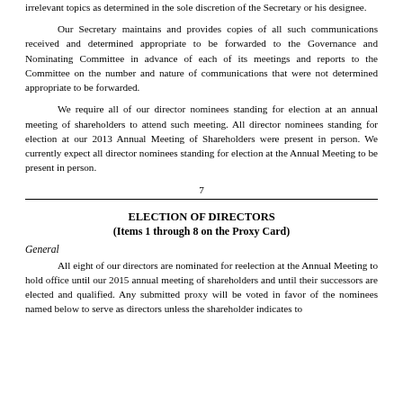irrelevant topics as determined in the sole discretion of the Secretary or his designee.
Our Secretary maintains and provides copies of all such communications received and determined appropriate to be forwarded to the Governance and Nominating Committee in advance of each of its meetings and reports to the Committee on the number and nature of communications that were not determined appropriate to be forwarded.
We require all of our director nominees standing for election at an annual meeting of shareholders to attend such meeting. All director nominees standing for election at our 2013 Annual Meeting of Shareholders were present in person. We currently expect all director nominees standing for election at the Annual Meeting to be present in person.
7
ELECTION OF DIRECTORS
(Items 1 through 8 on the Proxy Card)
General
All eight of our directors are nominated for reelection at the Annual Meeting to hold office until our 2015 annual meeting of shareholders and until their successors are elected and qualified. Any submitted proxy will be voted in favor of the nominees named below to serve as directors unless the shareholder indicates to